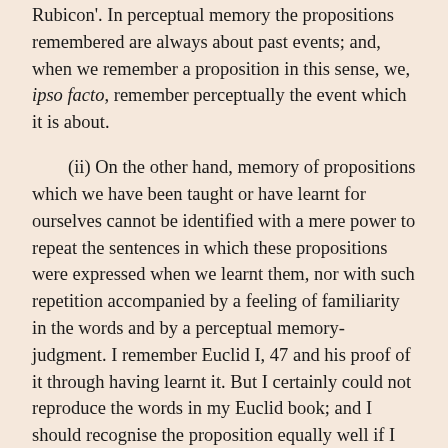Rubicon'. In perceptual memory the propositions remembered are always about past events; and, when we remember a proposition in this sense, we, ipso facto, remember perceptually the event which it is about.
(ii) On the other hand, memory of propositions which we have been taught or have learnt for ourselves cannot be identified with a mere power to repeat the sentences in which these propositions were expressed when we learnt them, nor with such repetition accompanied by a feeling of familiarity in the words and by a perceptual memory-judgment. I remember Euclid I, 47 and his proof of it through having learnt it. But I certainly could not reproduce the words in my Euclid book; and I should recognise the proposition equally well if I now saw it stated for the first time in any foreign tongue that is known to me. Again, I might accurately reproduce a sentence without remembering a proposition This might happen if I did not understand the